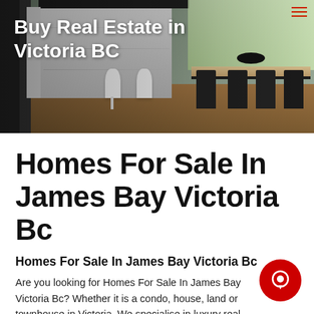[Figure (photo): Hero banner showing a modern kitchen interior with white cabinets, dark countertop, bar stools, and a dining area with chairs. Text overlay reads 'Buy Real Estate in Victoria BC'.]
Homes For Sale In James Bay Victoria Bc
Homes For Sale In James Bay Victoria Bc
Are you looking for Homes For Sale In James Bay Victoria Bc? Whether it is a condo, house, land or townhouse in Victoria. We specialise in luxury real estate as well as family homes in Victoria. For more information